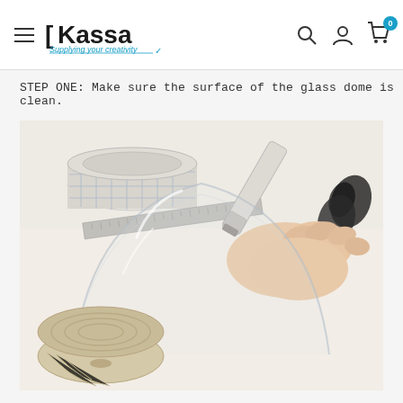Kassa — Supplying your creativity — Navigation header with search, account, and cart icons
STEP ONE: Make sure the surface of the glass dome is clean.
[Figure (photo): A hand holding a marker pen drawing on a clear glass dome, with craft supplies on a white surface including a rolled grid transfer tape, a metal ruler, scissors, and a round spool of twine.]